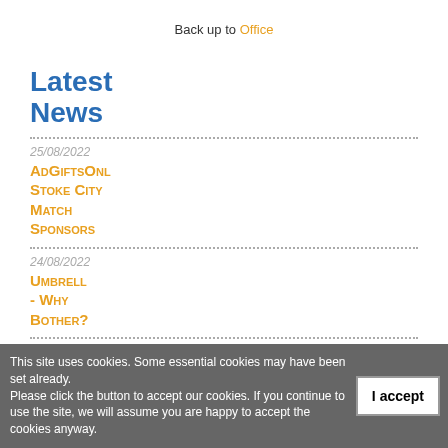Back up to Office
Latest News
25/08/2022
AdGiftsOnline Stoke City Match Sponsors
24/08/2022
Umbrella - Why Bother?
18/08/2022
Top 10:
This site uses cookies. Some essential cookies may have been set already. Please click the button to accept our cookies. If you continue to use the site, we will assume you are happy to accept the cookies anyway.